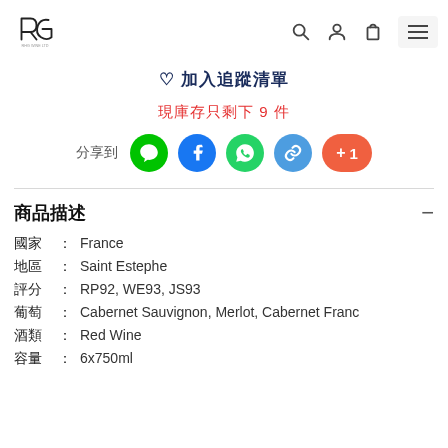RG Wine Ltd logo with navigation icons
♡ 加入追蹤清單
現庫存只剩下 9 件
分享到 [LINE] [Facebook] [WhatsApp] [Link] [+1]
商品描述
國家： France
地區： Saint Estephe
評分： RP92, WE93, JS93
葡萄： Cabernet Sauvignon, Merlot, Cabernet Franc
酒類： Red Wine
容量： 6x750ml